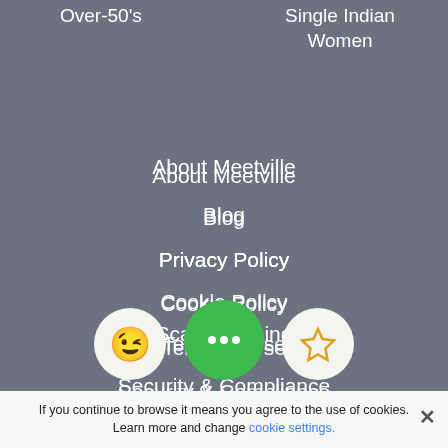Over-50's
Single Indian Women
About Meetville
Blog
Privacy Policy
Cookie Policy
Terms of Use
Security & Compliance
Scam Warning
Contact Us
[Figure (illustration): Three circular icons: a winking face emoji on white circle, a green chat bubble icon on green circle, and a star outline on white circle]
If you continue to browse it means you agree to the use of cookies. Learn more and change cookie settings.